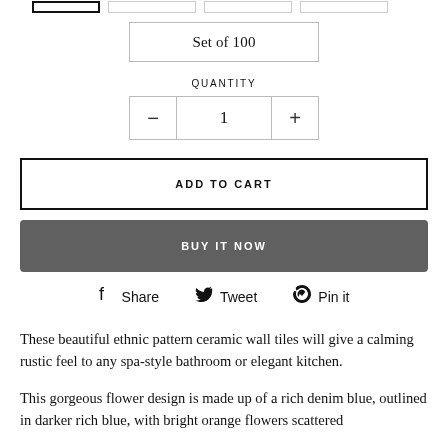Set of 100
QUANTITY
- 1 +
ADD TO CART
BUY IT NOW
Share   Tweet   Pin it
These beautiful ethnic pattern ceramic wall tiles will give a calming rustic feel to any spa-style bathroom or elegant kitchen.
This gorgeous flower design is made up of a rich denim blue, outlined in darker rich blue, with bright orange flowers scattered